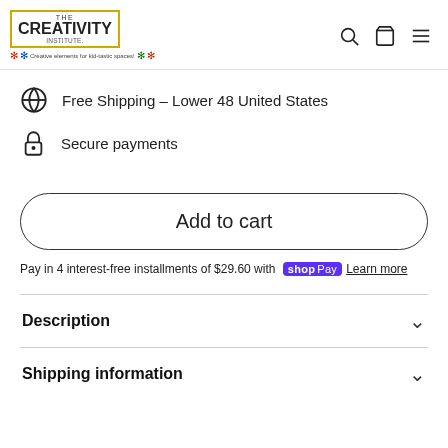The Creativity Institute - Creative elements for kid-tastic spaces!
Free Shipping – Lower 48 United States
Secure payments
Add to cart
Pay in 4 interest-free installments of $29.60 with Shop Pay  Learn more
Description
Shipping information